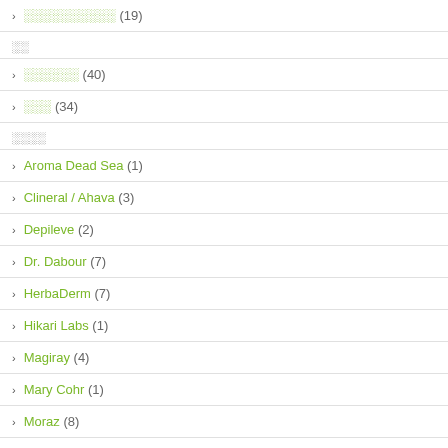░░░░░░░░░░ (19)
░░
░░░░░░ (40)
░░░ (34)
░░░░
Aroma Dead Sea (1)
Clineral / Ahava (3)
Depileve (2)
Dr. Dabour (7)
HerbaDerm (7)
Hikari Labs (1)
Magiray (4)
Mary Cohr (1)
Moraz (8)